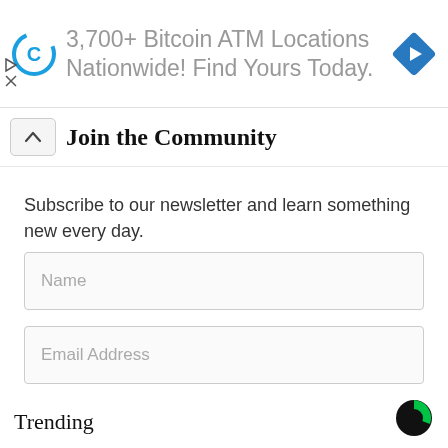[Figure (infographic): Advertisement banner: Coinbase-like logo on left, text '3,700+ Bitcoin ATM Locations Nationwide! Find Yours Today.' in gray, blue diamond direction arrow icon on right]
Join the Community
Subscribe to our newsletter and learn something new every day.
[Figure (screenshot): Name input field (empty, placeholder text 'Name')]
[Figure (screenshot): Email Address input field (empty, placeholder text 'Email Address')]
[Figure (screenshot): Blue Subscribe button]
Trending
[Figure (logo): Coinbase logo (dark circle with green segment) in bottom right corner]